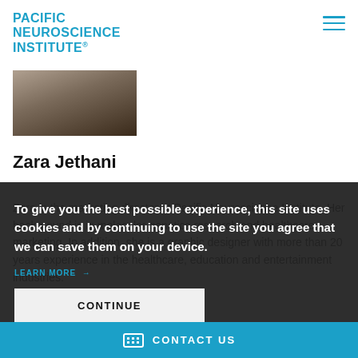PACIFIC NEUROSCIENCE INSTITUTE®
[Figure (photo): Partial photo of a person, cropped at top edge]
Zara Jethani
Zara is the marketing director at Pacific Neuroscience Institute. Her background is in molecular genetics research and healthcare marketing. In addition, she is a graphic designer with more than 20 years experience in the healthcare, education and entertainment industries.
To give you the best possible experience, this site uses cookies and by continuing to use the site you agree that we can save them on your device.
LEARN MORE →
CONTINUE
CONTACT US